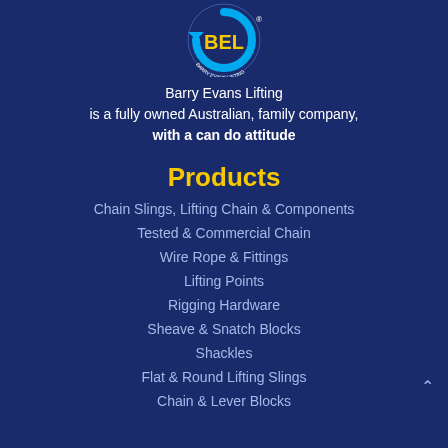[Figure (logo): Barry Evans Lifting circular logo with blue arrow and yellow BEL letters on dark navy background]
Barry Evans Lifting is a fully owned Australian, family company, with a can do attitude
Products
Chain Slings, Lifting Chain & Components
Tested & Commercial Chain
Wire Rope & Fittings
Lifting Points
Rigging Hardware
Sheave & Snatch Blocks
Shackles
Flat & Round Lifting Slings
Chain & Lever Blocks